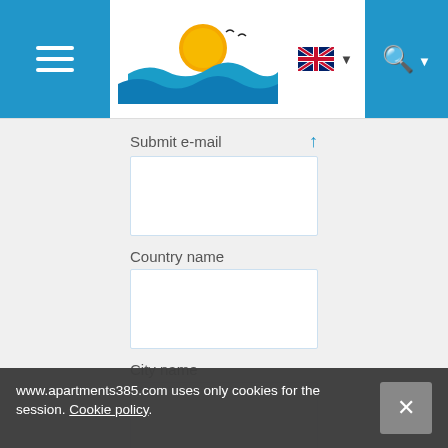[Figure (screenshot): Navigation bar with hamburger menu (blue), beach/sunset logo, UK flag language selector, and search button (blue)]
Submit e-mail ↑
Country name
City name
Number of adults: *
Number of children up to 3 years
www.apartments385.com uses only cookies for the session. Cookie policy.